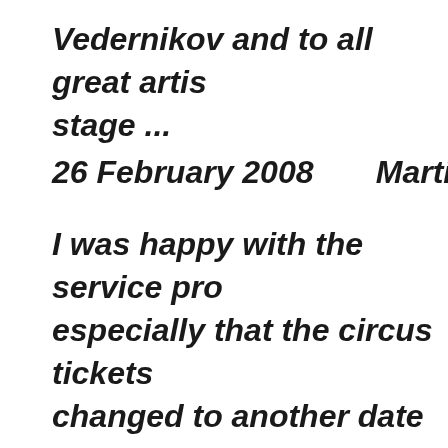Vedernikov and to all great artists stage ...
26 February 2008      Martin, Sh
I was happy with the service provided, especially that the circus tickets were changed to another date without penalties or commission.
15 February 2008      Armin, Ge